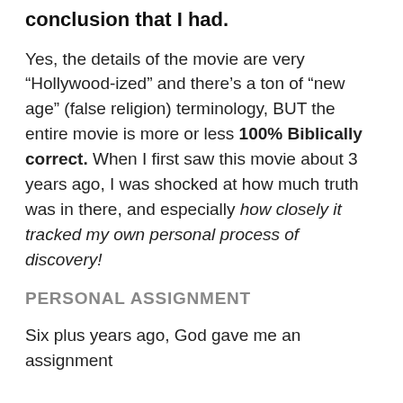conclusion that I had.
Yes, the details of the movie are very “Hollywood-ized” and there’s a ton of “new age” (false religion) terminology, BUT the entire movie is more or less 100% Biblically correct. When I first saw this movie about 3 years ago, I was shocked at how much truth was in there, and especially how closely it tracked my own personal process of discovery!
PERSONAL ASSIGNMENT
Six plus years ago, God gave me an assignment